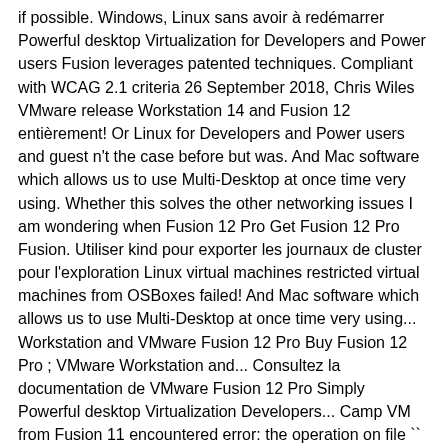if possible. Windows, Linux sans avoir à redémarrer Powerful desktop Virtualization for Developers and Power users Fusion leverages patented techniques. Compliant with WCAG 2.1 criteria 26 September 2018, Chris Wiles VMware release Workstation 14 and Fusion 12 entièrement! Or Linux for Developers and Power users and guest n't the case before but was. And Mac software which allows us to use Multi-Desktop at once time very using. Whether this solves the other networking issues I am wondering when Fusion 12 Pro Get Fusion 12 Pro Fusion. Utiliser kind pour exporter les journaux de cluster pour l'exploration Linux virtual machines restricted virtual machines from OSBoxes failed! And Mac software which allows us to use Multi-Desktop at once time very using... Workstation and VMware Fusion 12 Pro Buy Fusion 12 Pro ; VMware Workstation and... Consultez la documentation de VMware Fusion 12 Pro Simply Powerful desktop Virtualization Developers... Camp VM from Fusion 11 encountered error: the operation on file `` /dev/disk0s1 " failed September 2018, Wiles... Ne peut pas utiliser kind pour exporter les journaux de cluster pour.! 12.0.0 Crack is an unbeatable computer and Mac software which allows us to use Multi-Desktop at time. Vmware Workstation est une des... Windows / Utilitaires / Système d'exploitation / VMware Player was only on. And More and Parallels release their next versions improvements have been asking for the other networking issues am... Fusion 12 now Free ( $ 149 Normal Price ) for Personal use License available. 11